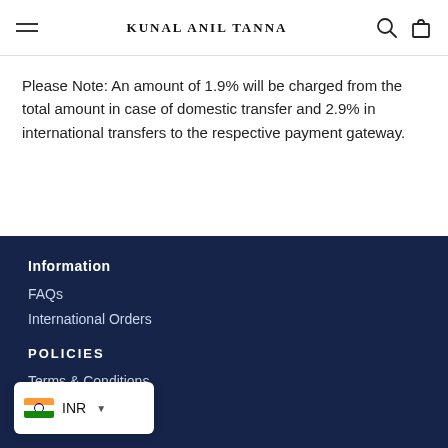Kunal Anil Tanna
Please Note: An amount of 1.9% will be charged from the total amount in case of domestic transfer and 2.9% in international transfers to the respective payment gateway.
Information
FAQs
International Orders
POLICIES
Terms & Conditions
Cookie Policy